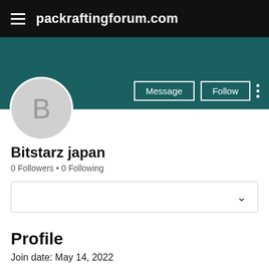packraftingforum.com
[Figure (screenshot): User profile page on packraftingforum.com showing teal banner, avatar with letter B, Message and Follow buttons, username Bitstarz japan, 0 Followers, 0 Following, a dropdown box, Profile section header, and join date May 14 2022.]
Bitstarz japan
0 Followers • 0 Following
Profile
Join date: May 14, 2022